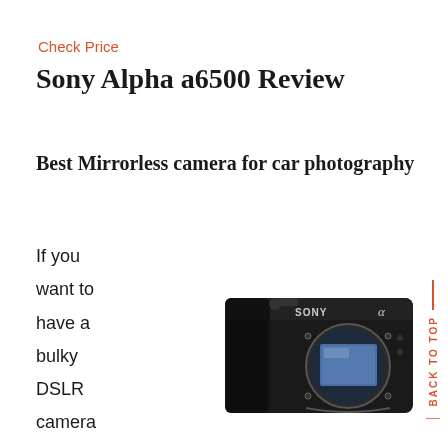Check Price
Sony Alpha a6500 Review
Best Mirrorless camera for car photography
If you
want to
have a
bulky
DSLR
camera
then
have
Sony
[Figure (photo): Sony Alpha a6500 mirrorless camera body, black, showing the camera sensor and Sony Alpha branding on top]